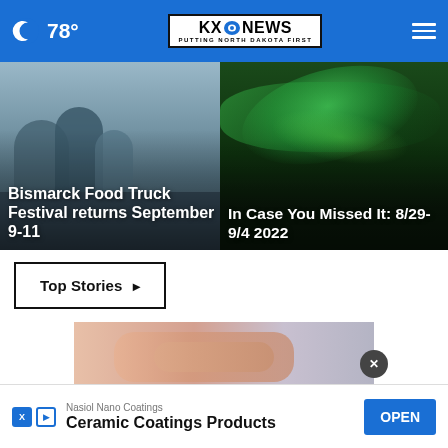🌙 78° | KXNEWS — Putting North Dakota First
[Figure (photo): Left news card: Bismarck Food Truck Festival — people at outdoor festival market]
Bismarck Food Truck Festival returns September 9-11
[Figure (photo): Right news card: Northern lights / aurora borealis over dark landscape]
In Case You Missed It: 8/29-9/4 2022
Top Stories ▶
[Figure (photo): Advertisement image showing hands/skin close-up, partially visible]
Nasiol Nano Coatings
Ceramic Coatings Products
OPEN